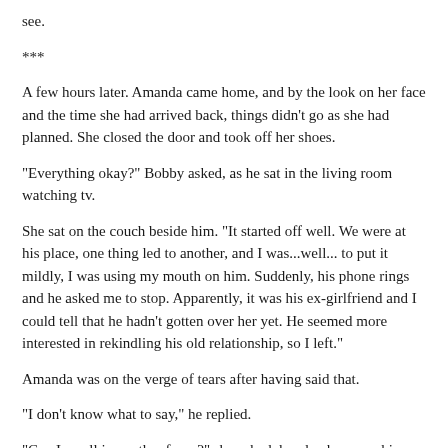see.
***
A few hours later. Amanda came home, and by the look on her face and the time she had arrived back, things didn't go as she had planned. She closed the door and took off her shoes.
"Everything okay?" Bobby asked, as he sat in the living room watching tv.
She sat on the couch beside him. "It started off well. We were at his place, one thing led to another, and I was...well... to put it mildly, I was using my mouth on him. Suddenly, his phone rings and he asked me to stop. Apparently, it was his ex-girlfriend and I could tell that he hadn't gotten over her yet. He seemed more interested in rekindling his old relationship, so I left."
Amanda was on the verge of tears after having said that.
"I don't know what to say," he replied.
"Can I... call in another favor?" she asked, barely above a whisper.
"What do you mean?"